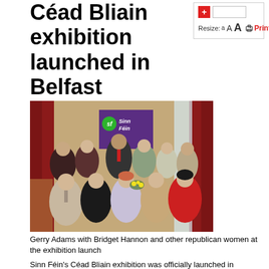Céad Bliain exhibition launched in Belfast
[Figure (photo): Group photo of Gerry Adams with Bridget Hannon and other republican women at the exhibition launch, with a Sinn Féin banner visible in the background]
Gerry Adams with Bridget Hannon and other republican women at the exhibition launch
Sinn Féin's Céad Bliain exhibition was officially launched in Belfast's Europa Hotel, celebrating 100 years of the party. The collection of documents, posters and photography will go on display throughout